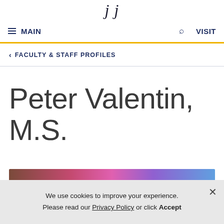jj
≡ MAIN  🔍  VISIT
< FACULTY & STAFF PROFILES
Peter Valentin, M.S.
[Figure (photo): Partial photo of Peter Valentin, M.S. showing top of head with braided/dreaded hair against a colorful pink, purple, and blue gradient background]
We use cookies to improve your experience. Please read our Privacy Policy or click Accept